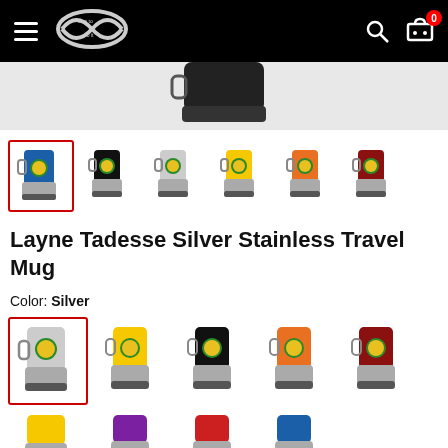Navigation bar with hamburger menu, infinity logo, search and cart icons
[Figure (photo): Product hero image showing top of a black travel mug on grey background]
[Figure (photo): Thumbnail row of Layne Tadesse travel mugs in various colors: blue (selected), black, silver, yellow, orange, dark red]
Layne Tadesse Silver Stainless Travel Mug
Color: Silver
[Figure (photo): Color swatch options: silver (selected), yellow, black, orange, dark red mugs]
[Figure (photo): Bottom row partial: yellow, purple, red, blue mug options]